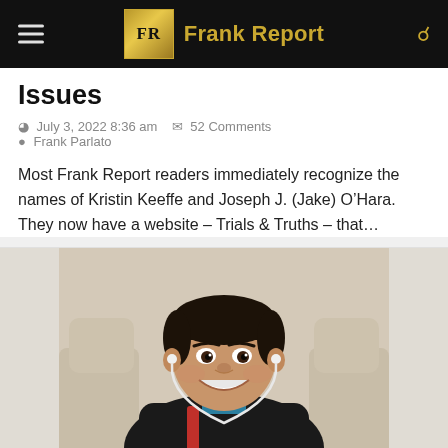FR Frank Report
Issues
July 3, 2022 8:36 am   52 Comments
Frank Parlato
Most Frank Report readers immediately recognize the names of Kristin Keeffe and Joseph J. (Jake) O’Hara. They now have a website – Trials & Truths – that…
[Figure (photo): A smiling young boy wearing a black zip-up hoodie with a teal shirt and red accents, with white earbuds, sitting in a car with beige leather seats.]